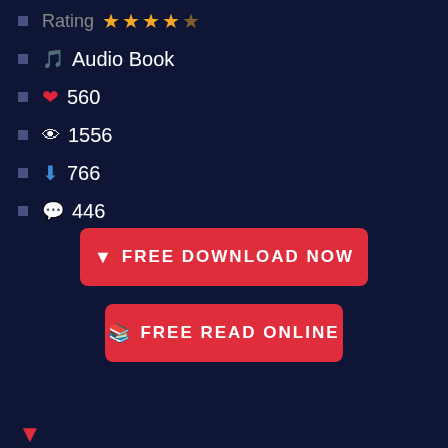Rating ★★★★☆
🎵 Audio Book
❤ 560
👁 1556
⬇ 766
💬 446
FREE DOWNLOAD NOW
FREE READ ONLINE